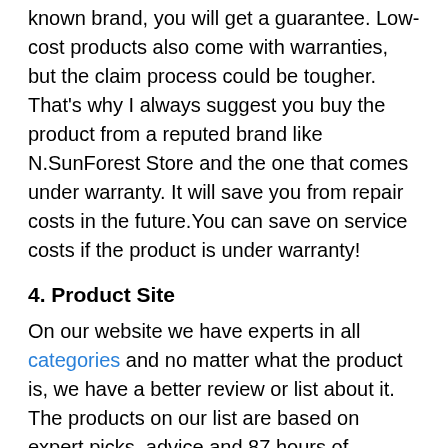known brand, you will get a guarantee. Low-cost products also come with warranties, but the claim process could be tougher. That's why I always suggest you buy the product from a reputed brand like N.SunForest Store and the one that comes under warranty. It will save you from repair costs in the future.You can save on service costs if the product is under warranty!
4. Product Site
On our website we have experts in all categories and no matter what the product is, we have a better review or list about it. The products on our list are based on expert picks, advice and 87 hours of research. That's why when you buy something that's listed on our best list, you won't regret it. However, there is a possibility that we may not have covered the product you might be interested in, but if you come across something like this, please let us know via contact us.